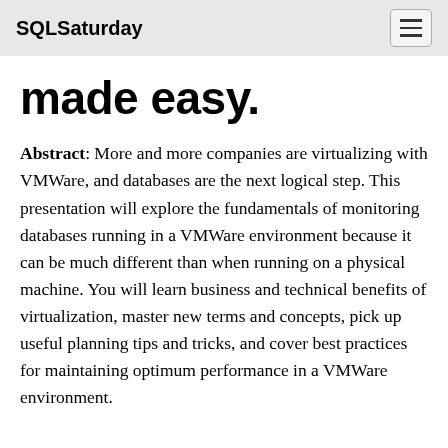SQLSaturday
made easy.
Abstract: More and more companies are virtualizing with VMWare, and databases are the next logical step. This presentation will explore the fundamentals of monitoring databases running in a VMWare environment because it can be much different than when running on a physical machine. You will learn business and technical benefits of virtualization, master new terms and concepts, pick up useful planning tips and tricks, and cover best practices for maintaining optimum performance in a VMWare environment.